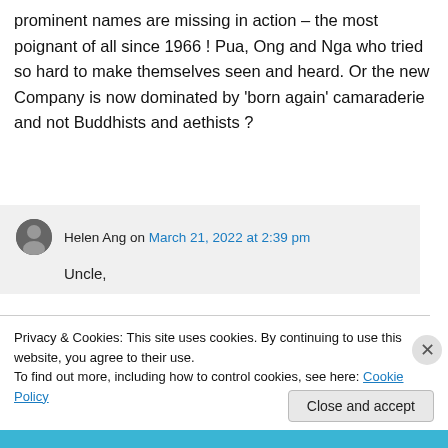prominent names are missing in action – the most poignant of all since 1966 ! Pua, Ong and Nga who tried so hard to make themselves seen and heard. Or the new Company is now dominated by 'born again' camaraderie and not Buddhists and aethists ?
Helen Ang on March 21, 2022 at 2:39 pm
Uncle,
Privacy & Cookies: This site uses cookies. By continuing to use this website, you agree to their use.
To find out more, including how to control cookies, see here: Cookie Policy